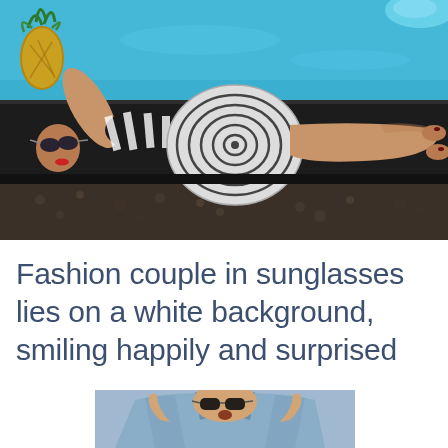[Figure (photo): Aerial view of a woman in a black-and-white striped swimsuit and large spiral-patterned hat lying on a dark poolside ledge beside a bright blue swimming pool. A pineapple is visible in the top-left corner. A blue pool float is in the upper-right. The woman wears sunglasses and has tanned legs extended.]
Fashion couple in sunglasses lies on a white background, smiling happily and surprised
[Figure (photo): Partial photo of a young man wearing sunglasses and a denim jacket, visible from the waist up, cropped at the bottom edge of the page. He appears to be smiling and the image is cut off.]